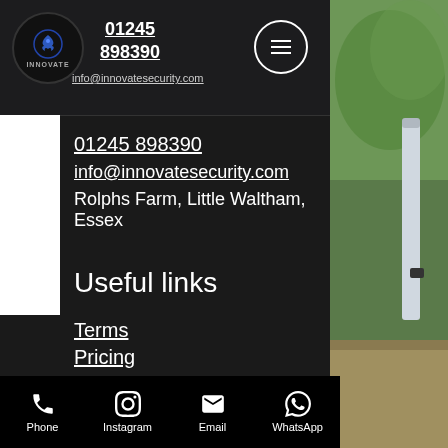01245 898390 | info@innovatesecurity.com | INNOVATE logo
01245 898390
info@innovatesecurity.com
Rolphs Farm, Little Waltham, Essex
Useful links
Terms
Pricing
Brochure
Phone | Instagram | Email | WhatsApp